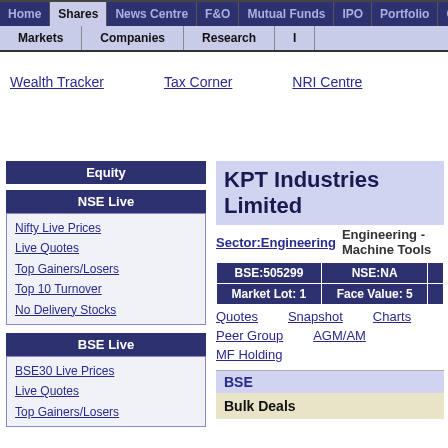Home | Shares | News Centre | F&O | Mutual Funds | IPO | Portfolio | Commo...
Markets | Companies | Research | I...
Wealth Tracker   Tax Corner   NRI Centre
Equity
NSE Live
Nifty Live Prices
Live Quotes
Top Gainers/Losers
Top 10 Turnover
No Delivery Stocks
BSE Live
BSE30 Live Prices
Live Quotes
Top Gainers/Losers
KPT Industries Limited
Sector:Engineering   Engineering - Machine Tools
| BSE:505299 | NSE:NA |  |
| --- | --- | --- |
| Market Lot: 1 | Face Value: 5 |  |
Quotes   Snapshot   Charts
Peer Group   AGM/AM   MF Holding
BSE
Bulk Deals